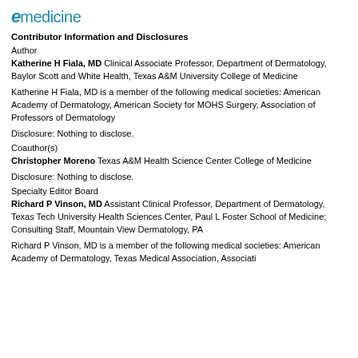emedicine
Contributor Information and Disclosures
Author
Katherine H Fiala, MD Clinical Associate Professor, Department of Dermatology, Baylor Scott and White Health, Texas A&M University College of Medicine
Katherine H Fiala, MD is a member of the following medical societies: American Academy of Dermatology, American Society for MOHS Surgery, Association of Professors of Dermatology
Disclosure: Nothing to disclose.
Coauthor(s)
Christopher Moreno Texas A&M Health Science Center College of Medicine
Disclosure: Nothing to disclose.
Specialty Editor Board
Richard P Vinson, MD Assistant Clinical Professor, Department of Dermatology, Texas Tech University Health Sciences Center, Paul L Foster School of Medicine; Consulting Staff, Mountain View Dermatology, PA
Richard P Vinson, MD is a member of the following medical societies: American Academy of Dermatology, Texas Medical Association, Association